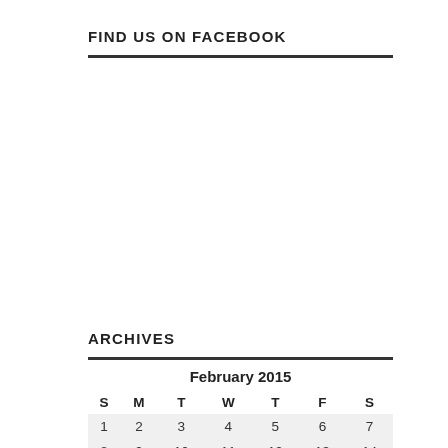FIND US ON FACEBOOK
ARCHIVES
| S | M | T | W | T | F | S |
| --- | --- | --- | --- | --- | --- | --- |
| 1 | 2 | 3 | 4 | 5 | 6 | 7 |
| 8 | 9 | 10 | 11 | 12 | 13 | 14 |